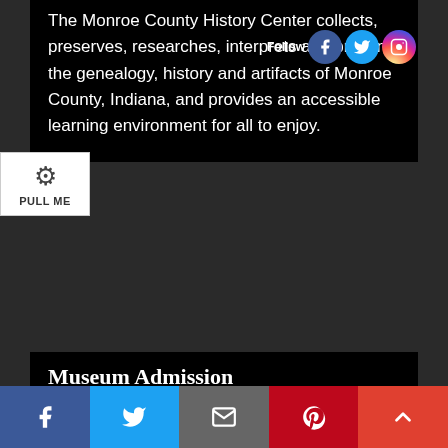The Monroe County History Center collects, preserves, researches, interprets and presents the genealogy, history and artifacts of Monroe County, Indiana, and provides an accessible learning environment for all to enjoy.
[Figure (other): Pull Me widget with gear/settings icon]
Museum Admission
Adults: $2
Children 6-17: $1
Children 5 & under: Free
Admission to the Museum is free to members and
[Figure (other): Bottom social share bar with Facebook, Twitter, Email, Pinterest, and scroll-up buttons]